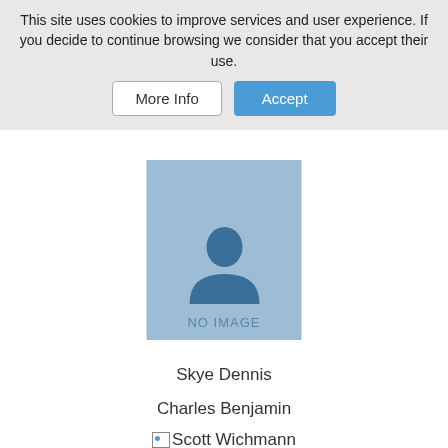This site uses cookies to improve services and user experience. If you decide to continue browsing we consider that you accept their use.
More Info | Accept
[Figure (illustration): No image placeholder with a silhouette person icon and text 'NO IMAGE' on a light blue background]
Skye Dennis
Charles Benjamin
Scott Wichmann
Scott Wichmann
Corporal Ira Clark